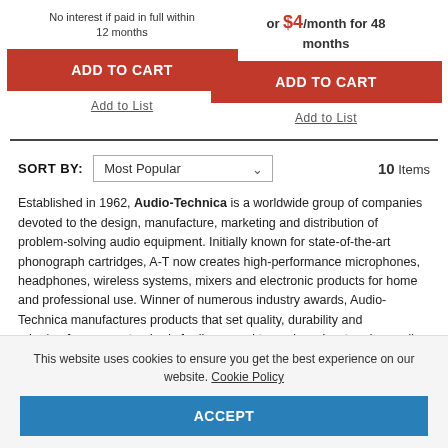No interest if paid in full within 12 months
or $4/month for 48 months
ADD TO CART
ADD TO CART
Add to List
Add to List
SORT BY: Most Popular  10 Items
Established in 1962, Audio-Technica is a worldwide group of companies devoted to the design, manufacture, marketing and distribution of problem-solving audio equipment. Initially known for state-of-the-art phonograph cartridges, A-T now creates high-performance microphones, headphones, wireless systems, mixers and electronic products for home and professional use. Winner of numerous industry awards, Audio-Technica manufactures products that set quality, durability and price/performance standards for live sound tours, broadcast and recording studios, corporate
This website uses cookies to ensure you get the best experience on our website. Cookie Policy
ACCEPT